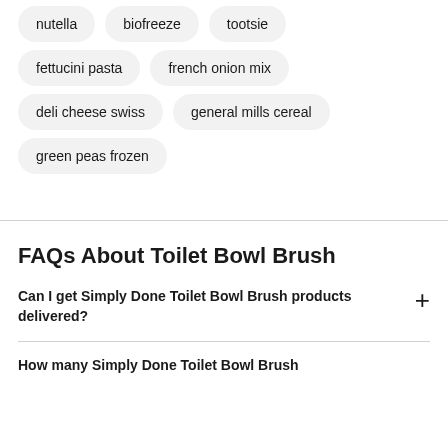nutella
biofreeze
tootsie
fettucini pasta
french onion mix
deli cheese swiss
general mills cereal
green peas frozen
FAQs About Toilet Bowl Brush
Can I get Simply Done Toilet Bowl Brush products delivered?
How many Simply Done Toilet Bowl Brush